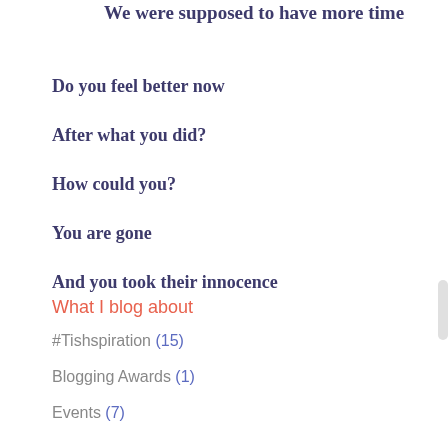We were supposed to have more time
Do you feel better now
After what you did?
How could you?
You are gone
And you took their innocence
What I blog about
#Tishspiration (15)
Blogging Awards (1)
Events (7)